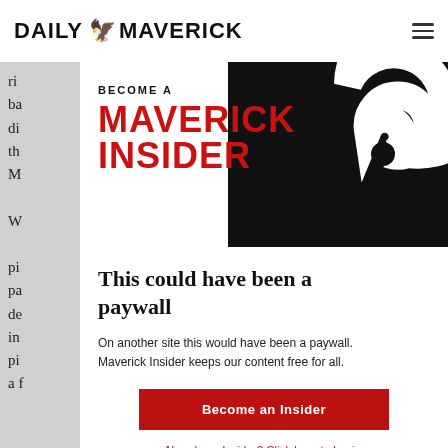DAILY MAVERICK
ri
ba
di
th
M

W

pi
pa
de
in
pi
a f
[Figure (logo): Maverick Insider promotional banner with red MAVERICK INSIDER text and black spiral logo on white background]
This could have been a paywall
On another site this would have been a paywall. Maverick Insider keeps our content free for all.
Become an Insider
Already an Insider? Click here to log in.